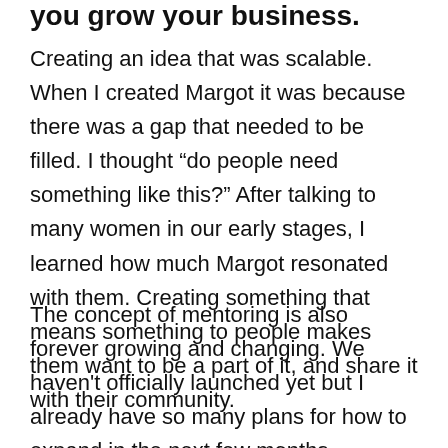you grow your business.
Creating an idea that was scalable. When I created Margot it was because there was a gap that needed to be filled. I thought “do people need something like this?” After talking to many women in our early stages, I learned how much Margot resonated with them. Creating something that means something to people makes them want to be a part of it, and share it with their community.
The concept of mentoring is also forever growing and changing. We haven't officially launched yet but I already have so many plans for how to expand in the next few months.